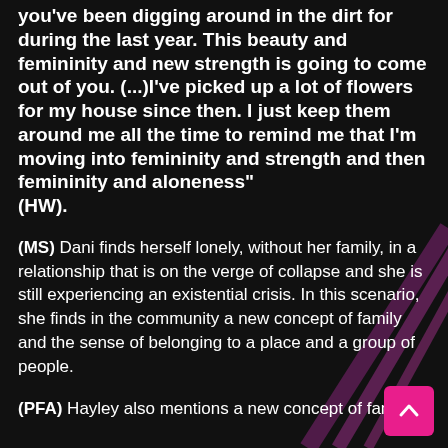you've been digging around in the dirt for during the last year. This beauty and femininity and new strength is going to come out of you. (...)I've picked up a lot of flowers for my house since then. I just keep them around me all the time to remind me that I'm moving into femininity and strength and then femininity and aloneness" (HW).
(MS) Dani finds herself lonely, without her family, in a relationship that is on the verge of collapse and she is still experiencing an existential crisis. In this scenario, she finds in the community a new concept of family and the sense of belonging to a place and a group of people.
(PFA) Hayley also mentions a new concept of family